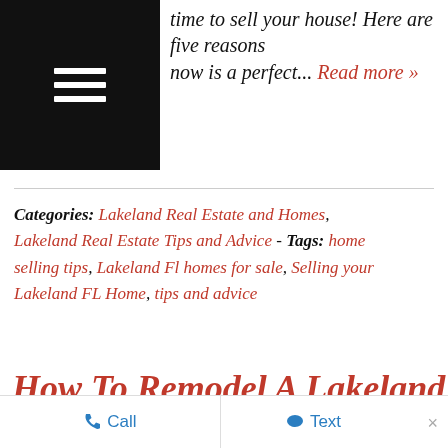time to sell your house! Here are five reasons now is a perfect... Read more »
Categories: Lakeland Real Estate and Homes, Lakeland Real Estate Tips and Advice - Tags: home selling tips, Lakeland Fl homes for sale, Selling your Lakeland FL Home, tips and advice
How To Remodel A Lakeland Fl Home to Increase Its Value?
CALL 863.712.4207  |  Call  |  Text  |  ×